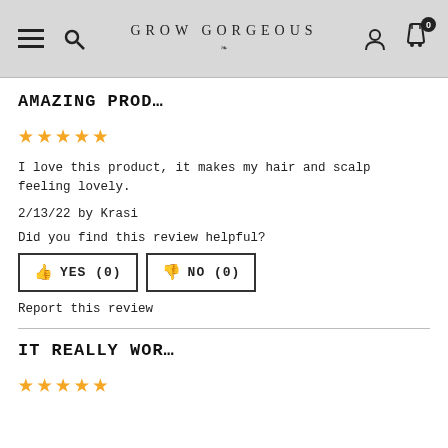GROW GORGEOUS
AMAZING PROD…
[Figure (other): 5 gold star rating]
I love this product, it makes my hair and scalp feeling lovely.
2/13/22 by Krasi
Did you find this review helpful?
YES (0)   NO (0)
Report this review
IT REALLY WOR…
[Figure (other): 5 gold star rating]